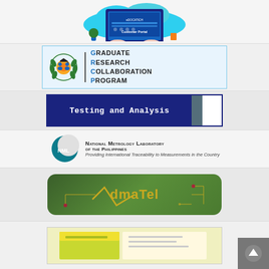[Figure (illustration): Customer Portal illustration showing a desktop computer with a person typing, plants, and office items on a light blue cloud background]
[Figure (logo): Graduate Research Collaboration Program (GRCP) logo with olive wreath, gear, and graduation cap icon, text reads: GRADUATE RESEARCH COLLABORATION PROGRAM]
[Figure (logo): Testing and Analysis banner with dark blue background and white monospace text]
[Figure (logo): National Metrology Laboratory of the Philippines (NML) logo with crescent moon shape and text: Providing International Traceability to Measurements in the Country]
[Figure (logo): dmaTel logo on green rounded rectangle background with circuit board design]
[Figure (illustration): Partial bottom image, yellow-green colored, partially visible]